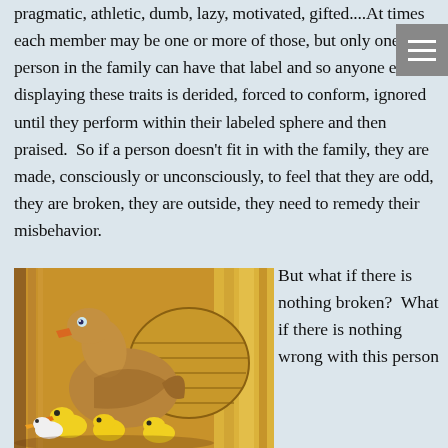pragmatic, athletic, dumb, lazy, motivated, gifted....At times each member may be one or more of those, but only one person in the family can have that label and so anyone else displaying these traits is derided, forced to conform, ignored until they perform within their labeled sphere and then praised.  So if a person doesn't fit in with the family, they are made, consciously or unconsciously, to feel that they are odd, they are broken, they are outside, they need to remedy their misbehavior.
[Figure (illustration): Illustration of a mother duck with several ducklings (yellow chicks) and a white bird near a woven basket, with golden/amber background suggesting hay or straw.]
But what if there is nothing broken?  What if there is nothing wrong with this person